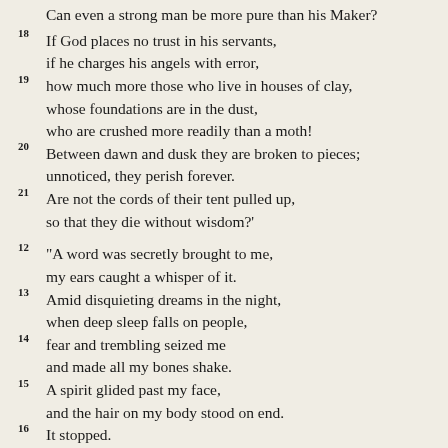Can even a strong man be more pure than his Maker?
18 If God places no trust in his servants,
    if he charges his angels with error,
19 how much more those who live in houses of clay,
    whose foundations are in the dust,
    who are crushed more readily than a moth!
20 Between dawn and dusk they are broken to pieces;
    unnoticed, they perish forever.
21 Are not the cords of their tent pulled up,
    so that they die without wisdom?'
12 “A word was secretly brought to me,
    my ears caught a whisper of it.
13 Amid disquieting dreams in the night,
    when deep sleep falls on people,
14 fear and trembling seized me
    and made all my bones shake.
15 A spirit glided past my face,
    and the hair on my body stood on end.
16 It stopped.